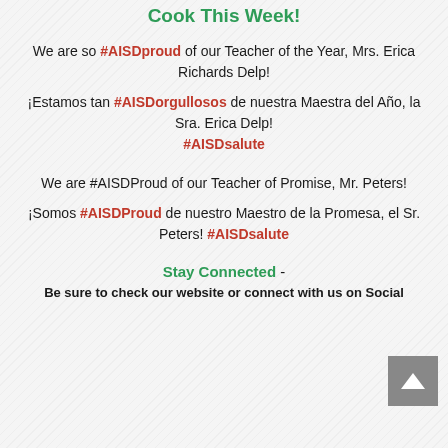Cook This Week!
We are so #AISDproud of our Teacher of the Year, Mrs. Erica Richards Delp!
¡Estamos tan #AISDorgullosos de nuestra Maestra del Año, la Sra. Erica Delp! #AISDsalute
We are #AISDProud of our Teacher of Promise, Mr. Peters!
¡Somos #AISDProud de nuestro Maestro de la Promesa, el Sr. Peters! #AISDsalute
Stay Connected -
Be sure to check our website or connect with us on Social